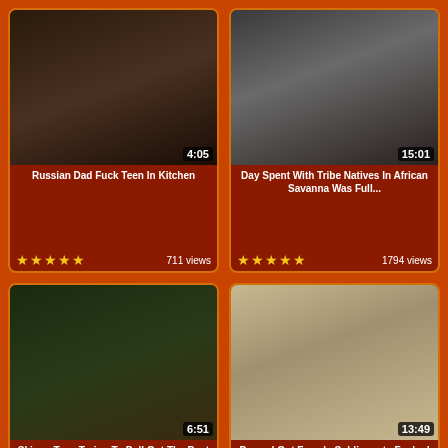[Figure (screenshot): Video thumbnail showing dark kitchen scene, duration 4:05]
Russian Dad Fuck Teen In Kitchen
★★★★★  711 views
[Figure (screenshot): Video thumbnail showing African savanna scene, duration 15:01]
Day Spent With Tribe Natives In African Savanna Was Full...
★★★★★  1794 views
[Figure (screenshot): Video thumbnail showing outdoor scene, duration 6:51]
Skinny Teen Trying To Pull Out The Beet Her Boyfriend Fi...
★★★★★  629 views
[Figure (screenshot): Video thumbnail showing room with bunk beds and soldier, duration 13:49]
Passed Out Female Soldier gets Fucked To Recover
★★★★★  783 views
[Figure (screenshot): Video thumbnail showing two people on couch]
[Figure (screenshot): Video thumbnail showing stairwell scene]